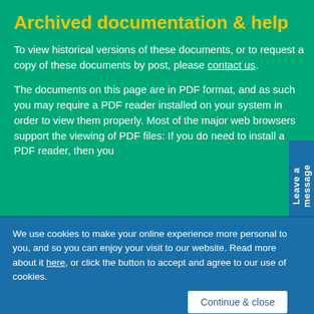Archived documentation & help
To view historical versions of these documents, or to request a copy of these documents by post, please contact us.
The documents on this page are in PDF format, and as such you may require a PDF reader installed on your system in order to view them properly. Most of the major web browsers support the viewing of PDF files: If you do need to install a PDF reader, then you
Leave a message
We use cookies to make your online experience more personal to you, and so you can enjoy your visit to our website. Read more about it here, or click the button to accept and agree to our use of cookies.
Continue & close